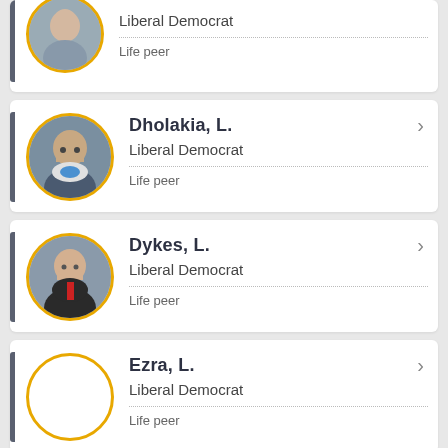Liberal Democrat, Life peer (partial card at top)
Dholakia, L. — Liberal Democrat — Life peer
Dykes, L. — Liberal Democrat — Life peer
Ezra, L. — Liberal Democrat — Life peer
Partial card at bottom